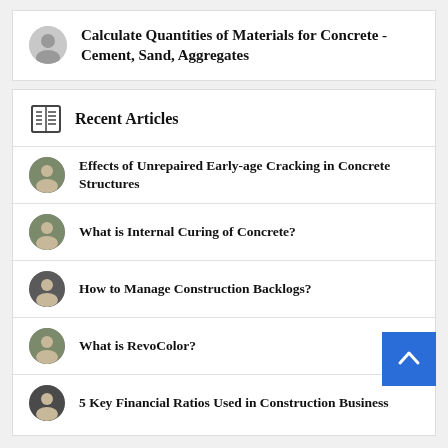Calculate Quantities of Materials for Concrete - Cement, Sand, Aggregates
Recent Articles
Effects of Unrepaired Early-age Cracking in Concrete Structures
What is Internal Curing of Concrete?
How to Manage Construction Backlogs?
What is RevoColor?
5 Key Financial Ratios Used in Construction Business